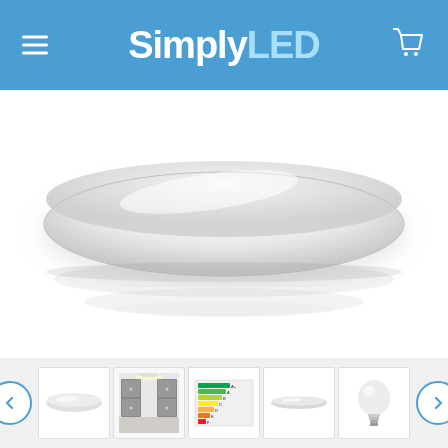SimplyLED
[Figure (photo): Large white oval/disc-shaped LED ceiling light product shown floating against a white background with a subtle reflection below it]
[Figure (photo): Thumbnail row showing 5 product images: (1) oval LED ceiling light side view, (2) ceiling light installed in room with tall grey cabinets, (3) energy rating label, (4) slim oval LED light side view, (5) white LED bulb. Navigation arrows on left and right.]